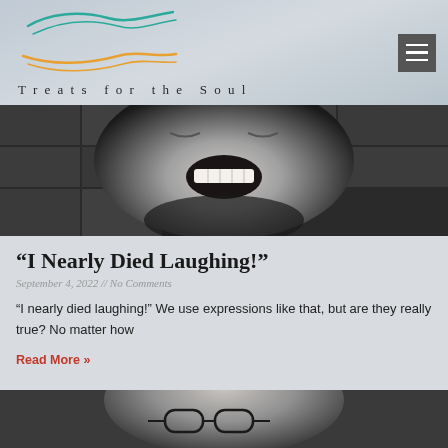Treats for the Soul
[Figure (photo): Black and white close-up photo of a man laughing with mouth wide open]
“I Nearly Died Laughing!”
September 4, 2022 // No Comments
“I nearly died laughing!” We use expressions like that, but are they really true? No matter how
Read More »
[Figure (photo): Black and white photo of a person wearing glasses, partially visible at bottom of page]